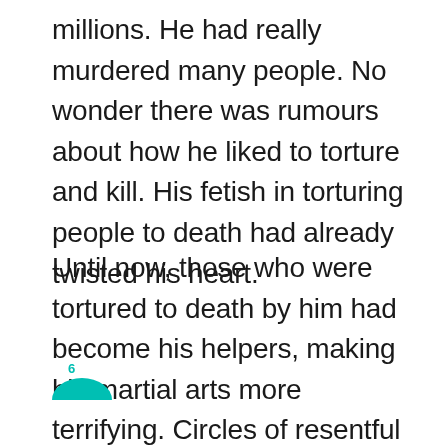millions. He had really murdered many people. No wonder there was rumours about how he liked to torture and kill. His fetish in torturing people to death had already twisted his heart.
Until now, those who were tortured to death by him had become his helpers, making his martial arts more terrifying. Circles of resentful spirits swept out, swallowing and shattering everything they encountered. It was extremely terrifying.
6